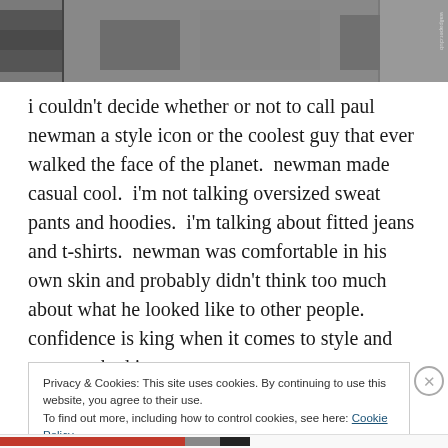[Figure (photo): Black and white photo strip showing clothing/jacket details, partial view cropped at top of page]
i couldn't decide whether or not to call paul newman a style icon or the coolest guy that ever walked the face of the planet.  newman made casual cool.  i'm not talking oversized sweat pants and hoodies.  i'm talking about fitted jeans and t-shirts.  newman was comfortable in his own skin and probably didn't think too much about what he looked like to other people.  confidence is king when it comes to style and newman had it.
Privacy & Cookies: This site uses cookies. By continuing to use this website, you agree to their use.
To find out more, including how to control cookies, see here: Cookie Policy